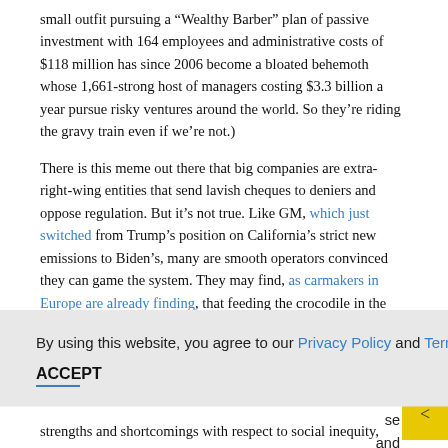small outfit pursuing a “Wealthy Barber” plan of passive investment with 164 employees and administrative costs of $118 million has since 2006 become a bloated behemoth whose 1,661-strong host of managers costing $3.3 billion a year pursue risky ventures around the world. So they’re riding the gravy train even if we’re not.)
There is this meme out there that big companies are extra-right-wing entities that send lavish cheques to deniers and oppose regulation. But it’s not true. Like GM, which just switched from Trump’s position on California’s strict new emissions to Biden’s, many are smooth operators convinced they can game the system. They may find, as carmakers in Europe are already finding, that feeding the crocodile in the hope of being eaten last is just exactly as bad an idea as it sounds. But in any case private companies no longer dominate financial markets. Public and
By using this website, you agree to our Privacy Policy and Terms of Use.
ACCEPT
strengths and shortcomings with respect to social inequity,